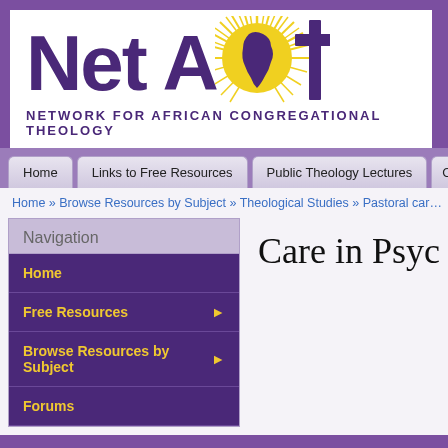[Figure (logo): Net ACT logo — Network for African Congregational Theology — with globe showing Africa map on yellow sunburst and cross symbol, purple text on white background]
Home | Links to Free Resources | Public Theology Lectures | Cor…
Home » Browse Resources by Subject » Theological Studies » Pastoral car…
Navigation
Home
Free Resources ▶
Browse Resources by Subject ▶
Forums
Care in Psycholo…